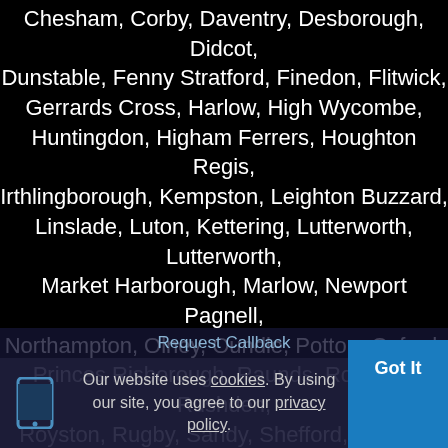Chesham, Corby, Daventry, Desborough, Didcot, Dunstable, Fenny Stratford, Finedon, Flitwick, Gerrards Cross, Harlow, High Wycombe, Huntingdon, Higham Ferrers, Houghton Regis, Irthlingborough, Kempston, Leighton Buzzard, Linslade, Luton, Kettering, Lutterworth, Lutterworth, Market Harborough, Marlow, Newport Pagnell, Northampton, Olney, Oundle, Potton, Oxford, Princes Risborough, Raunds, Rothwell, Rushden, Royston, Rugby, Sandy, Shefford, Slough, Stony Stratford, Stotfold, Thrapston, Towcester, Wellingborough, Watford, Wendover, Winslow, Woburn, Woburn Sands, Wolverton and the
Our website uses cookies. By using our site, you agree to our privacy policy.
Request Callback
Got It